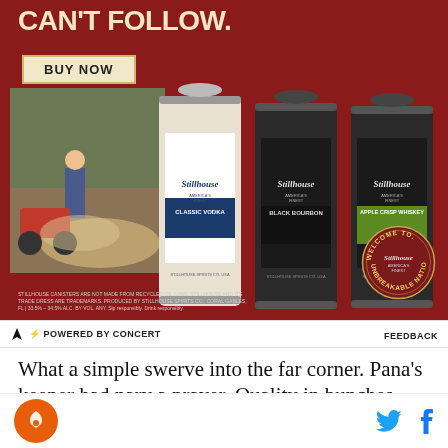[Figure (photo): Stillhouse Whiskey advertisement with dark red background. Shows three Stillhouse spirit cans (Classic Vodka, Black Bourbon, Apple Crisp Whiskey), a person on a dirt bike scene, 'CAN'T FOLLOW.' headline, 'BUY NOW' button, and 'Welcome to Unbreakable Nation' circular badge. Bottom disclaimer text about recycled oil cans.]
⚡ POWERED BY CONCERT
FEEDBACK
What a simple swerve into the far corner. Pana's keeper had nary a prayer. Quality in bunches, ladies
[Figure (logo): Site logo - orange circle with bird/phoenix icon]